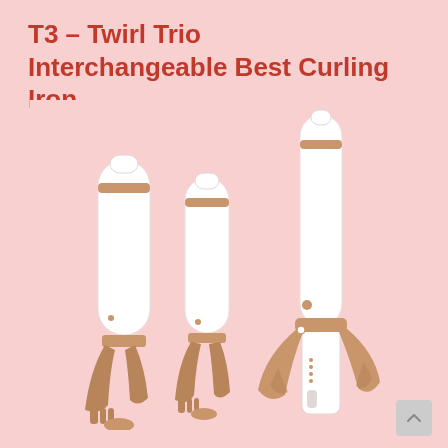T3 – Twirl Trio Interchangeable Best Curling Iron
[Figure (photo): Three T3 Twirl Trio interchangeable curling iron barrels in white with rose gold accents, shown side by side at varying heights on a pink background. The largest barrel is on the right with the handle attached, and two smaller barrels are shown on the left without the handle.]